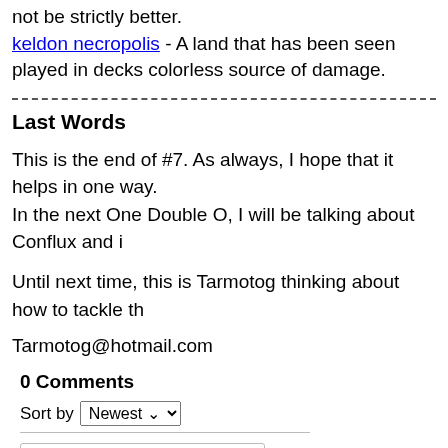not be strictly better. keldon necropolis - A land that has been seen played in decks colorless source of damage.
Last Words
This is the end of #7. As always, I hope that it helps in one way. In the next One Double O, I will be talking about Conflux and i
Until next time, this is Tarmotog thinking about how to tackle th
Tarmotog@hotmail.com
0 Comments
Sort by Newest
Add a comment...